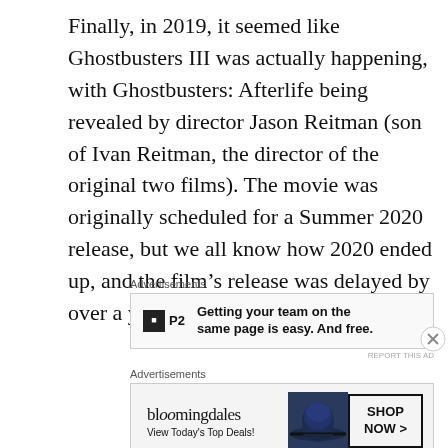Finally, in 2019, it seemed like Ghostbusters III was actually happening, with Ghostbusters: Afterlife being revealed by director Jason Reitman (son of Ivan Reitman, the director of the original two films). The movie was originally scheduled for a Summer 2020 release, but we all know how 2020 ended up, and the film's release was delayed by over a year.
Advertisements
[Figure (other): P2 advertisement: Getting your team on the same page is easy. And free.]
Advertisements
[Figure (other): Bloomingdale's advertisement: View Today's Top Deals! SHOP NOW >]